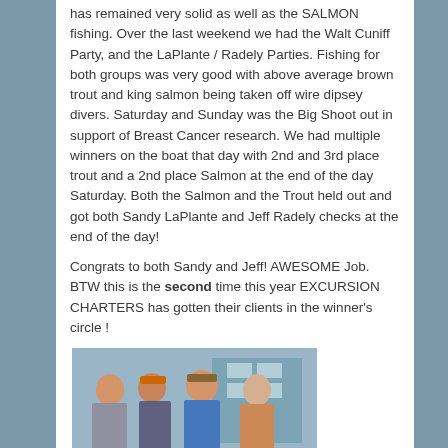has remained very solid as well as the SALMON fishing. Over the last weekend we had the Walt Cuniff Party, and the LaPlante / Radely Parties. Fishing for both groups was very good with above average brown trout and king salmon being taken off wire dipsey divers. Saturday and Sunday was the Big Shoot out in support of Breast Cancer research. We had multiple winners on the boat that day with 2nd and 3rd place trout and a 2nd place Salmon at the end of the day Saturday. Both the Salmon and the Trout held out and got both Sandy LaPlante and Jeff Radely checks at the end of the day!
Congrats to both Sandy and Jeff! AWESOME Job. BTW this is the second time this year EXCURSION CHARTERS has gotten their clients in the winner's circle !
[Figure (photo): Group photo of four people (two women, two men) standing behind a display banner for Excursion Charters at what appears to be a marina. Below the banner hang several caught fish (salmon). Two green Henchen Marina signs are visible on either side of the Excursion Charters banner.]